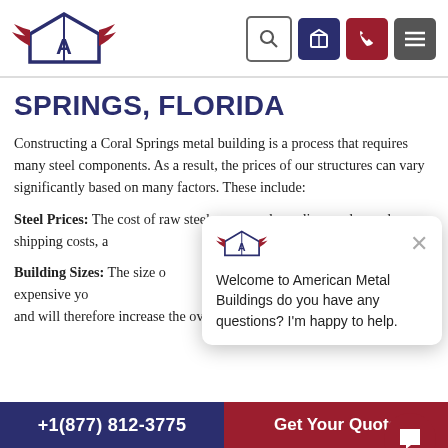[Figure (logo): American Metal Buildings logo with eagle/building icon in navy blue and red]
SPRINGS, FLORIDA
Constructing a Coral Springs metal building is a process that requires many steel components. As a result, the prices of our structures can vary significantly based on many factors. These include:
Steel Prices: The cost of raw steel can vary depending on demand, shipping costs, and any global events that may disrupt distribution.
[Figure (screenshot): Chat popup overlay: American Metal Buildings logo, close X button, text 'Welcome to American Metal Buildings do you have any questions? I'm happy to help.']
Building Sizes: The size of your building plays a huge role in how expensive your structure will be. Larger buildings will require more steel and will therefore increase the overall cost.
+1(877) 812-3775   Get Your Quote